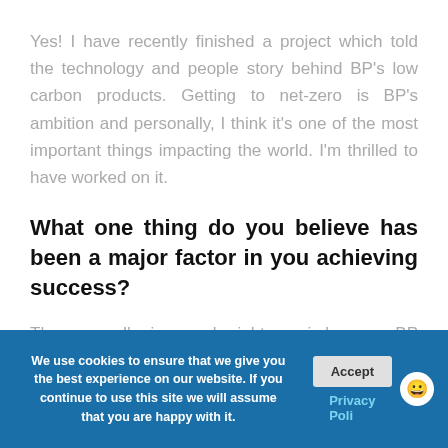Yes! I have recently finished a project which told the technology and people story behind BP's low carbon products. Getting to net-zero is BP's ambition and personally, I think it's one of the most important things impacting the world. I'm thrilled to have worked on it.
What one thing do you believe has been a major factor in you achieving success?
The reason I'm in my role right now is because BP encouraged my career progression and recognised that I had a skillset that might be
We use cookies to ensure that we give you the best experience on our website. If you continue to use this site we will assume that you are happy with it.